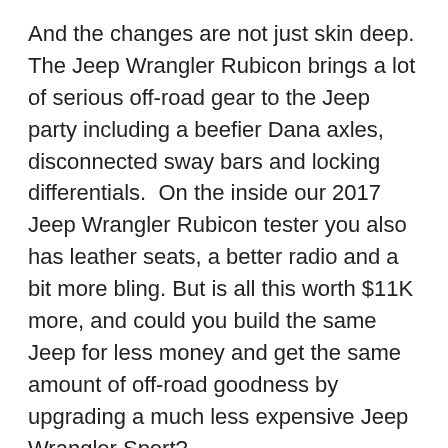And the changes are not just skin deep. The Jeep Wrangler Rubicon brings a lot of serious off-road gear to the Jeep party including a beefier Dana axles, disconnected sway bars and locking differentials.  On the inside our 2017 Jeep Wrangler Rubicon tester you also has leather seats, a better radio and a bit more bling. But is all this worth $11K more, and could you build the same Jeep for less money and get the same amount of off-road goodness by upgrading a much less expensive Jeep Wrangler Sport?
We decided to find out.
Check out this TFL Mashup video to find out, and click HERE for a side by side comparison of the 2016 vs 2017 Jeep Wrangler's halogen vs new LED lights.
Also, please let us know what you think in the comments